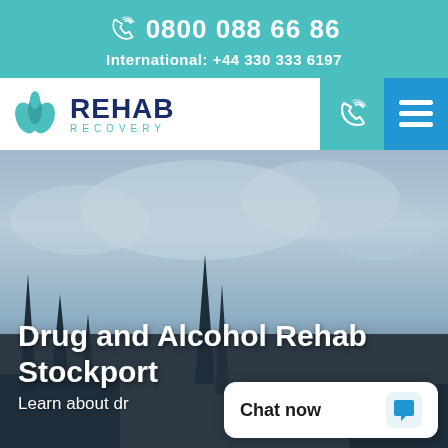0800 088 66 86  International: +44 330 333 6197
[Figure (logo): Rehab Recovery logo with teal leaf icon and dark blue text]
Drug and Alcohol Rehab Stockport
Learn about dr...
[Figure (screenshot): Chat now widget in bottom right corner]